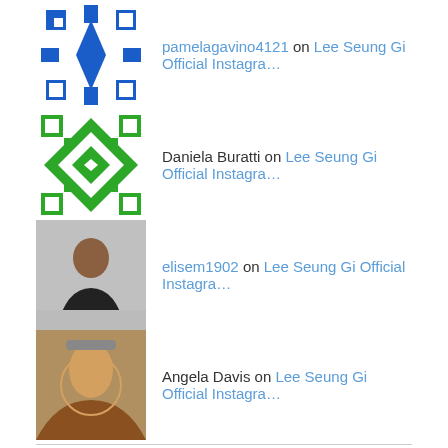pamelagavino4121 on Lee Seung Gi Official Instagra…
Daniela Buratti on Lee Seung Gi Official Instagra…
elisem1902 on Lee Seung Gi Official Instagra…
Angela Davis on Lee Seung Gi Official Instagra…
Categories
1N2D
5 Minute Broadcast
5.5 mini album Forest
anan
Anniversary
article